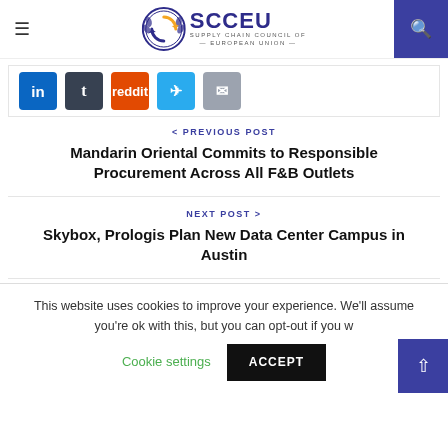SCCEU – Supply Chain Council of European Union
[Figure (other): Social share buttons: LinkedIn, Tumblr, Reddit, Telegram, Email]
< PREVIOUS POST
Mandarin Oriental Commits to Responsible Procurement Across All F&B Outlets
NEXT POST >
Skybox, Prologis Plan New Data Center Campus in Austin
This website uses cookies to improve your experience. We'll assume you're ok with this, but you can opt-out if you w
Cookie settings   ACCEPT